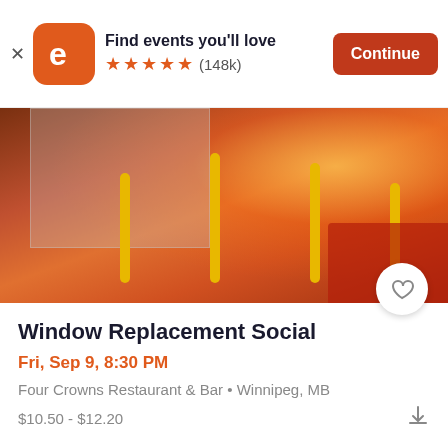[Figure (screenshot): Eventbrite app banner with orange logo, 5 star rating (148k reviews), and Continue button]
[Figure (photo): Photo of a parking lot with yellow bollard poles, a storefront, and orange/red ambient lighting with a red vehicle on the right]
Window Replacement Social
Fri, Sep 9, 8:30 PM
Four Crowns Restaurant & Bar • Winnipeg, MB
$10.50 - $12.20
[Figure (screenshot): Thin Air Winnipeg thinairwinnipeg.ca promotional banner with illustrated cityscape books]